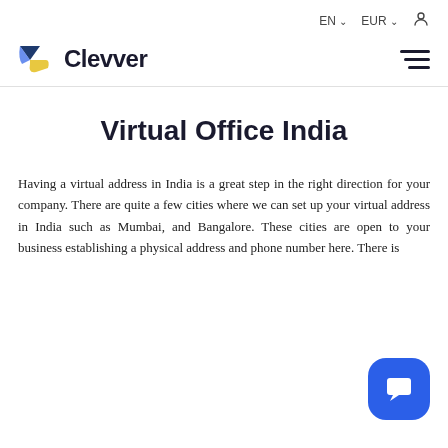EN ∨   EUR ∨   👤
[Figure (logo): Clevver logo with paper-plane icon in blue and yellow, beside bold text 'Clevver']
Virtual Office India
Having a virtual address in India is a great step in the right direction for your company. There are quite a few cities where we can set up your virtual address in India such as Mumbai, and Bangalore. These cities are open to your business establishing a physical address and phone number here. There is